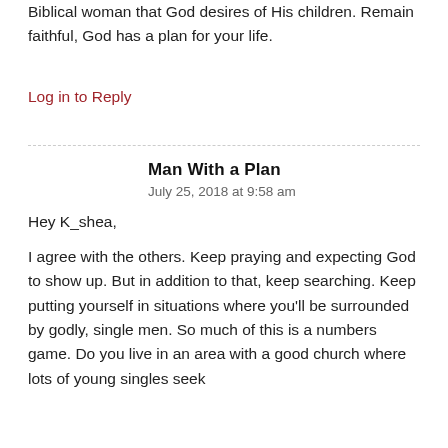Biblical woman that God desires of His children. Remain faithful, God has a plan for your life.
Log in to Reply
Man With a Plan
July 25, 2018 at 9:58 am
Hey K_shea,
I agree with the others. Keep praying and expecting God to show up. But in addition to that, keep searching. Keep putting yourself in situations where you'll be surrounded by godly, single men. So much of this is a numbers game. Do you live in an area with a good church where lots of young singles seek